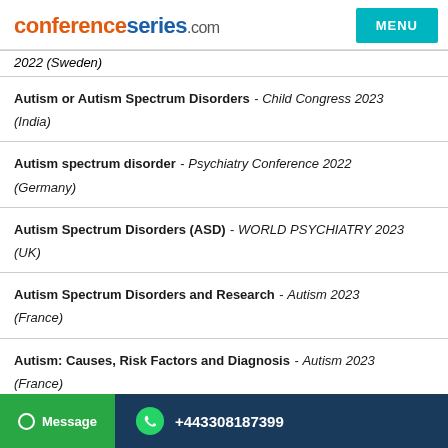conferenceseries.com MENU
2022 (Sweden)
Autism or Autism Spectrum Disorders - Child Congress 2023 (India)
Autism spectrum disorder - Psychiatry Conference 2022 (Germany)
Autism Spectrum Disorders (ASD) - WORLD PSYCHIATRY 2023 (UK)
Autism Spectrum Disorders and Research - Autism 2023 (France)
Autism: Causes, Risk Factors and Diagnosis - Autism 2023 (France)
Message  +443308187399